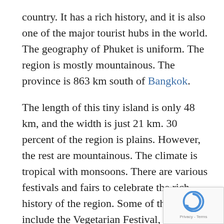country. It has a rich history, and it is also one of the major tourist hubs in the world. The geography of Phuket is uniform. The region is mostly mountainous. The province is 863 km south of Bangkok.
The length of this tiny island is only 48 km, and the width is just 21 km. 30 percent of the region is plains. However, the rest are mountainous. The climate is tropical with monsoons. There are various festivals and fairs to celebrate the rich history of the region. Some of these include the Vegetarian Festival, Thao Si Sunthon Fair, the Ghost Festival, and Phuket Bike Week. Also, the cuisines of the province are an absolute delic[ht]
The 2004 Tsunami severely damaged the reg[ion]